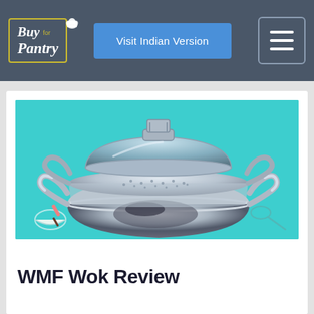Buy for Pantry | Visit Indian Version
[Figure (photo): Stainless steel wok with glass lid and steamer insert, with two side handles, on a teal/turquoise background with small cooking-related illustrations]
WMF Wok Review